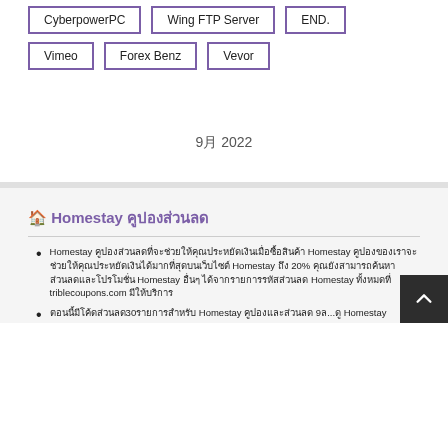CyberpowerPC
Wing FTP Server
END.
Vimeo
Forex Benz
Vevor
9月 2022
🏠 Homestay คูปองส่วนลด
Homestay คูปองส่วนลดที่จะช่วยให้คุณประหยัดเงินเมื่อซื้อสินค้า Homestay คูปองของเราจะช่วยให้คุณประหยัดเงินได้มากที่สุดบนเว็บไซต์ Homestay ถึง 20% คุณยังสามารถค้นหา ส่วนลดและโปรโมชั่น Homestay อื่นๆ ได้จากรายการรหัสส่วนลด Homestay ทั้งหมดที่ triblecoupons.com มีให้บริการ
ตอนนี้มีโค้ดส่วนลด30รายการสำหรับ Homestay คูปองและส่วนลด 9ล...ดู Homestay